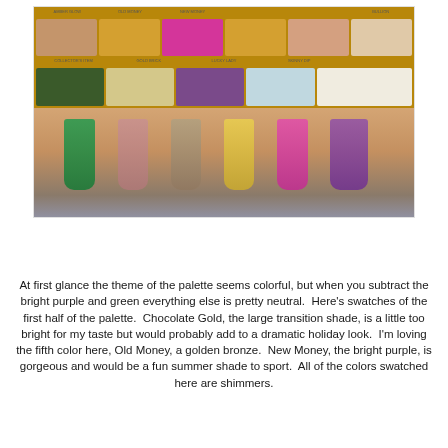[Figure (photo): A photo showing the top half of an eyeshadow makeup palette with gold casing and colorful shades (including browns, orange, pink/magenta, gold, peach, nude shades, dark green, champagne, purple, light blue, and white), with the bottom half showing arm swatches of six shades: green, mauve/pink, taupe, gold/yellow, pink/magenta, and purple, with a rocky/textured background beneath the arm.]
At first glance the theme of the palette seems colorful, but when you subtract the bright purple and green everything else is pretty neutral.  Here's swatches of the first half of the palette.  Chocolate Gold, the large transition shade, is a little too bright for my taste but would probably add to a dramatic holiday look.  I'm loving the fifth color here, Old Money, a golden bronze.  New Money, the bright purple, is gorgeous and would be a fun summer shade to sport.  All of the colors swatched here are shimmers.